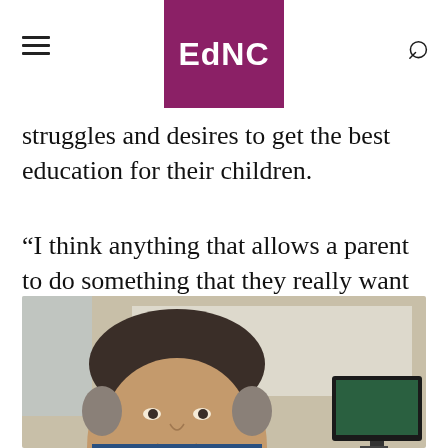EdNC
struggles and desires to get the best education for their children.
“I think anything that allows a parent to do something that they really want for their child, something they believe in, I think is good,” he said.
[Figure (photo): A man with dark hair, smiling slightly, sitting in front of a whiteboard and a computer monitor in an office or classroom setting.]